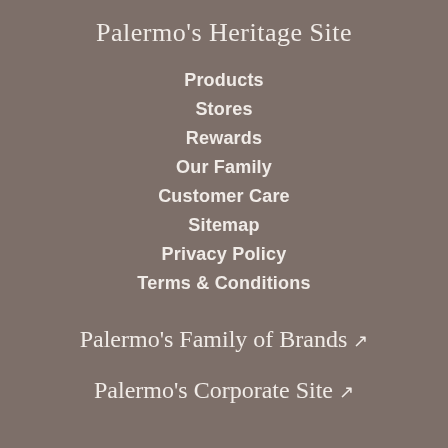Palermo's Heritage Site
Products
Stores
Rewards
Our Family
Customer Care
Sitemap
Privacy Policy
Terms & Conditions
Palermo's Family of Brands ↗
Palermo's Corporate Site ↗